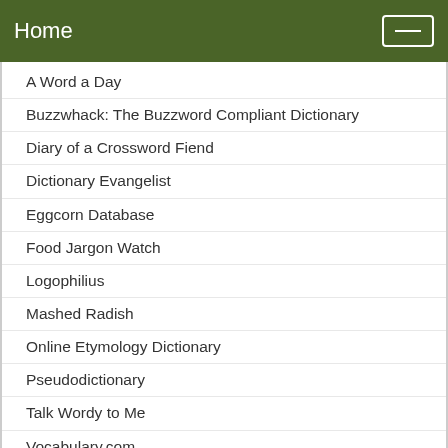Home
A Word a Day
Buzzwhack: The Buzzword Compliant Dictionary
Diary of a Crossword Fiend
Dictionary Evangelist
Eggcorn Database
Food Jargon Watch
Logophilius
Mashed Radish
Online Etymology Dictionary
Pseudodictionary
Talk Wordy to Me
Vocabulary.com
Word Detective